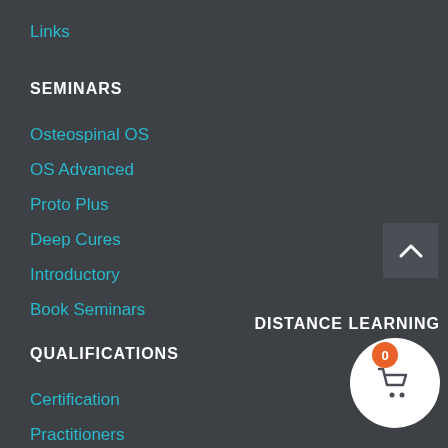Links
SEMINARS
Osteospinal OS
OS Advanced
Proto Plus
Deep Cures
Introductory
Book Seminars
QUALIFICATIONS
Certification
Practitioners
DISTANCE LEARNING
[Figure (illustration): Scroll-to-top button: dark square with upward-pointing chevron arrow in white]
[Figure (illustration): Shopping cart button: white circle with shopping cart icon, orange badge showing 0]